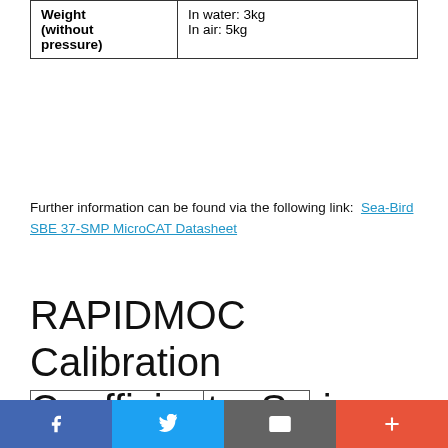|  |  |
| --- | --- |
| Weight (without pressure) | In water: 3kg
In air: 5kg |
Further information can be found via the following link: Sea-Bird SBE 37-SMP MicroCAT Datasheet
RAPIDMOC Calibration Coefficients: Series 973539
|  |  |
| --- | --- |
| BODC Series identifier | 973539 |
| Instrument Serial number | 5779 |